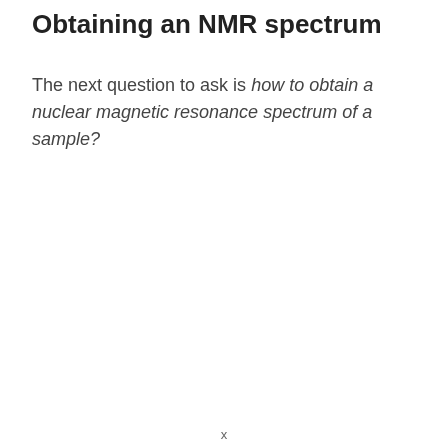Obtaining an NMR spectrum
The next question to ask is how to obtain a nuclear magnetic resonance spectrum of a sample?